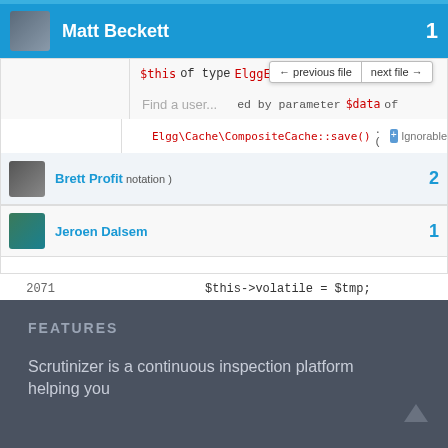Matt Beckett  1
[Figure (screenshot): Code review UI showing PHP code snippet with $this of type ElggEntity, $data parameter, Elgg\Cache\CompositeCache::save() annotation. Navigation buttons: previous file, next file. Find a user input. Line numbers 2071, 2072, 2101 with code $this->volatile = $tmp; and }]
Brett Profit  2
Jeroen Dalsem  1
FEATURES
Scrutinizer is a continuous inspection platform helping you